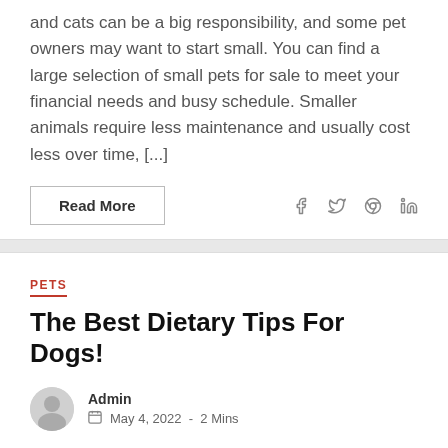and cats can be a big responsibility, and some pet owners may want to start small. You can find a large selection of small pets for sale to meet your financial needs and busy schedule. Smaller animals require less maintenance and usually cost less over time, [...]
Read More
PETS
The Best Dietary Tips For Dogs!
Admin  May 4, 2022  -  2 Mins